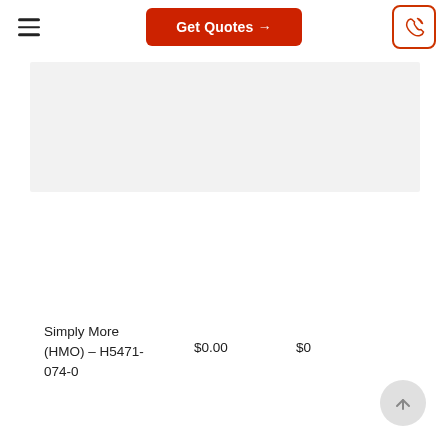Get Quotes →
[Figure (screenshot): Gray placeholder content area]
Simply More (HMO) – H5471-074-0    $0.00    $0